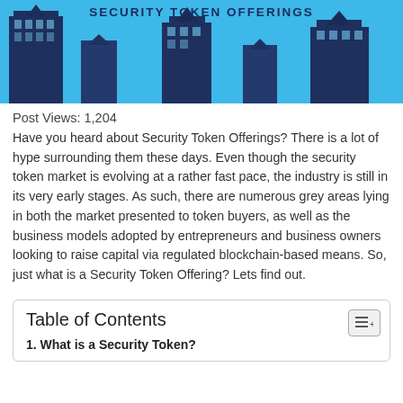[Figure (illustration): Header banner with blue sky background, city skyscrapers silhouette, and text 'SECURITY TOKEN OFFERINGS' in dark blue bold uppercase letters]
Post Views: 1,204
Have you heard about Security Token Offerings? There is a lot of hype surrounding them these days. Even though the security token market is evolving at a rather fast pace, the industry is still in its very early stages. As such, there are numerous grey areas lying in both the market presented to token buyers, as well as the business models adopted by entrepreneurs and business owners looking to raise capital via regulated blockchain-based means. So, just what is a Security Token Offering? Lets find out.
Table of Contents
1. What is a Security Token?